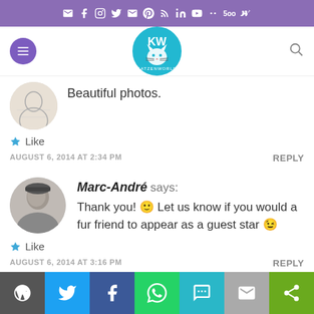Social icons bar (mail, facebook, instagram, twitter, mail, pinterest, rss, linkedin, youtube, ello, 500px, vk)
[Figure (logo): Katzenworld blog logo - circular blue logo with cat face illustration]
Beautiful photos.
★ Like
AUGUST 6, 2014 AT 2:34 PM
REPLY
Marc-André says:
Thank you! 🙂 Let us know if you would a fur friend to appear as a guest star 😉
★ Like
AUGUST 6, 2014 AT 3:16 PM
REPLY
Share buttons: WordPress, Twitter, Facebook, WhatsApp, SMS, Email, Other